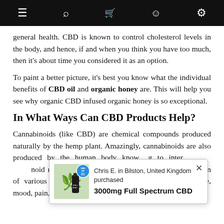☰ 🔍 🛒 👤 ⚙
general health. CBD is known to control cholesterol levels in the body, and hence, if and when you think you have too much, then it's about time you considered it as an option.
To paint a better picture, it's best you know what the individual benefits of CBD oil and organic honey are. This will help you see why organic CBD infused organic honey is so exceptional.
In What Ways Can CBD Products Help?
Cannabinoids (like CBD) are chemical compounds produced naturally by the hemp plant. Amazingly, cannabinoids are also produced by the human body knowing to interact with cannabinoid receptors in the nervous systems for the regulation of various physiological processes such as sleep, appetite, mood, pain, stress
[Figure (infographic): Popup notification showing: Chris E. in Bilston, United Kingdom purchased 3000mg Full Spectrum CBD, with a product image on the left showing a green hemp leaf and a dark bottle labeled FULL SPECTRUM CBD OIL, and a blue circular badge. A close (×) button is in the top right.]